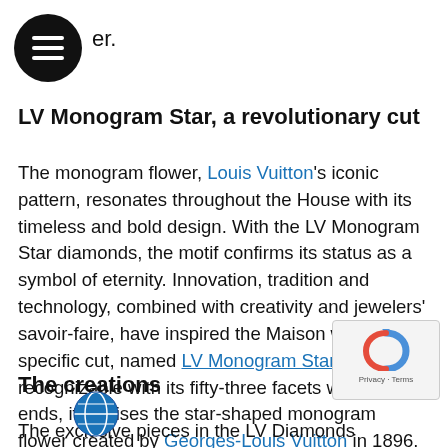er.
LV Monogram Star, a revolutionary cut
The monogram flower, Louis Vuitton's iconic pattern, resonates throughout the House with its timeless and bold design. With the LV Monogram Star diamonds, the motif confirms its status as a symbol of eternity. Innovation, tradition and technology, combined with creativity and jewelers' savoir-faire, have inspired the Maison with this specific cut, named LV Monogram Star. Instantly recognizable with its fifty-three facets with pointed ends, it reprises the star-shaped monogram flower created by Georges-Louis Vuitton in 1896. A bold, graphic cut, with a brand-new outline to make the sleek authentic jewels sparkle like never before.
The creations
The exclusive pieces in the LV Diamonds collection, designed